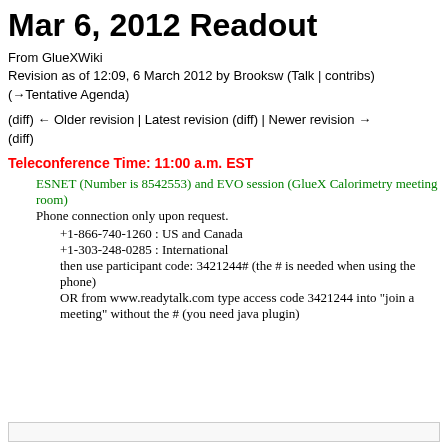Mar 6, 2012 Readout
From GlueXWiki
Revision as of 12:09, 6 March 2012 by Brooksw (Talk | contribs)
(→Tentative Agenda)
(diff) ← Older revision | Latest revision (diff) | Newer revision → (diff)
Teleconference Time: 11:00 a.m. EST
ESNET (Number is 8542553) and EVO session (GlueX Calorimetry meeting room)
Phone connection only upon request.
+1-866-740-1260 : US and Canada
+1-303-248-0285 : International
then use participant code: 3421244# (the # is needed when using the phone)
OR from www.readytalk.com type access code 3421244 into "join a meeting" without the # (you need java plugin)